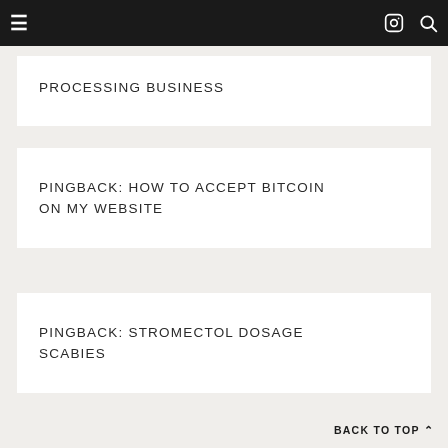≡  (instagram icon)  (search icon)
PROCESSING BUSINESS
PINGBACK: HOW TO ACCEPT BITCOIN ON MY WEBSITE
PINGBACK: STROMECTOL DOSAGE SCABIES
BACK TO TOP ∧